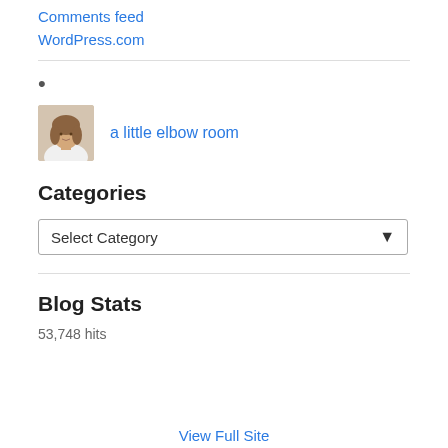Comments feed
WordPress.com
•
[Figure (photo): Small avatar photo of a woman with medium-length brown hair, wearing a white top, used as a blog profile image.]
a little elbow room
Categories
Select Category
Blog Stats
53,748 hits
View Full Site